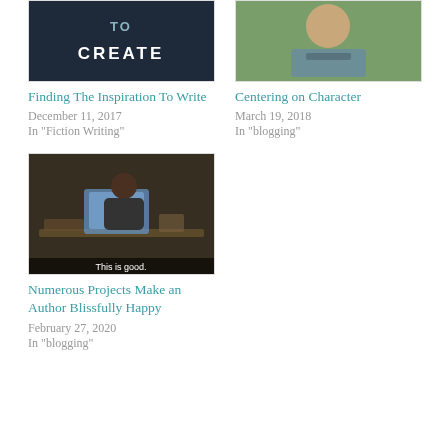[Figure (photo): Dark background book cover with text 'TO CREATE' visible]
Finding The Inspiration To Write
December 11, 2017
In "Fiction Writing"
[Figure (photo): Person sitting outdoors on grass, casual photo]
Centering on Character
March 19, 2018
In "blogging"
[Figure (photo): Man working at desk with laptop in a dimly lit room, caption reads 'This is good.']
Numerous Projects Make an Author Blissfully Happy
February 27, 2020
In "blogging"